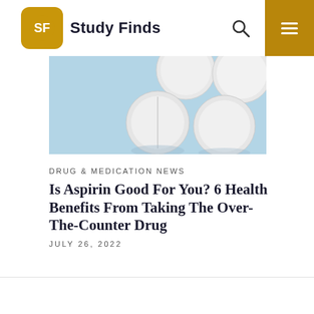Study Finds
[Figure (photo): White round pills/tablets on a light blue background, photographed from above]
DRUG & MEDICATION NEWS
Is Aspirin Good For You? 6 Health Benefits From Taking The Over-The-Counter Drug
JULY 26, 2022